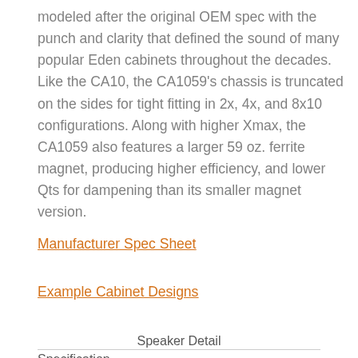modeled after the original OEM spec with the punch and clarity that defined the sound of many popular Eden cabinets throughout the decades. Like the CA10, the CA1059's chassis is truncated on the sides for tight fitting in 2x, 4x, and 8x10 configurations. Along with higher Xmax, the CA1059 also features a larger 59 oz. ferrite magnet, producing higher efficiency, and lower Qts for dampening than its smaller magnet version.
Manufacturer Spec Sheet
Example Cabinet Designs
Speaker Detail
Specification